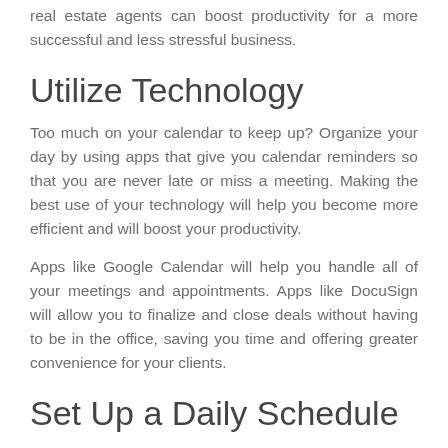real estate agents can boost productivity for a more successful and less stressful business.
Utilize Technology
Too much on your calendar to keep up? Organize your day by using apps that give you calendar reminders so that you are never late or miss a meeting. Making the best use of your technology will help you become more efficient and will boost your productivity.
Apps like Google Calendar will help you handle all of your meetings and appointments. Apps like DocuSign will allow you to finalize and close deals without having to be in the office, saving you time and offering greater convenience for your clients.
Set Up a Daily Schedule
One of the easiest ways to boost your productivity is to